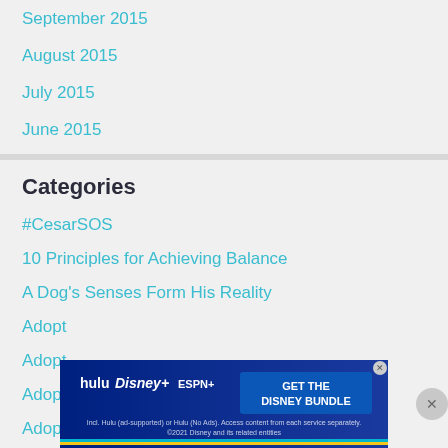September 2015
August 2015
July 2015
June 2015
Categories
#CesarSOS
10 Principles for Achieving Balance
A Dog's Senses Form His Reality
Adopt
Adopt
Adopting From a Breeder
Adopting From A Shelter
[Figure (infographic): Disney Bundle advertisement banner showing Hulu, Disney+, and ESPN+ logos with GET THE DISNEY BUNDLE call-to-action button and fine print text]